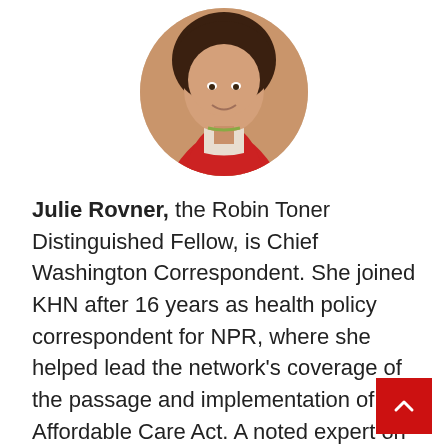[Figure (photo): Circular cropped headshot portrait of Julie Rovner, a woman in a red jacket with a floral scarf, smiling]
Julie Rovner, the Robin Toner Distinguished Fellow, is Chief Washington Correspondent. She joined KHN after 16 years as health policy correspondent for NPR, where she helped lead the network's coverage of the passage and implementation of the Affordable Care Act. A noted expert on health policy issues, Julie is the author of the critically praised reference book Health Care Politics and Policy A–Z, now in its third edition. In 2005, she was awarded the National Press Foundation Ernest McKid...